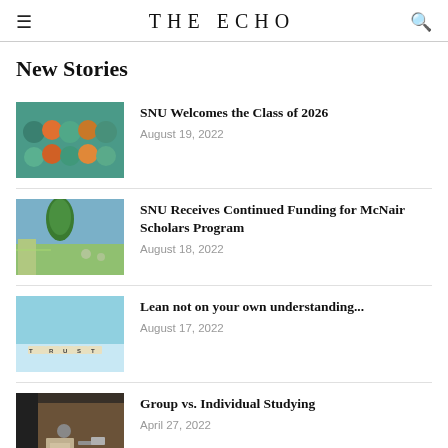THE ECHO
New Stories
SNU Welcomes the Class of 2026 | August 19, 2022
SNU Receives Continued Funding for McNair Scholars Program | August 18, 2022
Lean not on your own understanding... | August 17, 2022
Group vs. Individual Studying | April 27, 2022